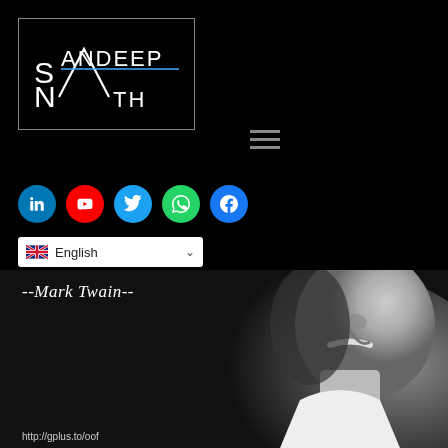[Figure (logo): Sandeep Nath logo with stylized triangular mountain peak icon and text 'SANDEEP NATH' in white on black background, inside a rectangular border]
[Figure (infographic): Hamburger/menu icon with three horizontal lines]
[Figure (infographic): Row of five social media icon circles: LinkedIn (blue), YouTube (red), Twitter (light blue), WhatsApp (green), Facebook (dark blue)]
[Figure (infographic): Language selector dropdown showing UK flag and 'English' text with dropdown arrow]
[Figure (photo): Black and white portrait photo of Mark Twain, older man with white mustache, wearing a white suit, facing right profile on dark background]
--Mark Twain--
http://gplus.to/oof